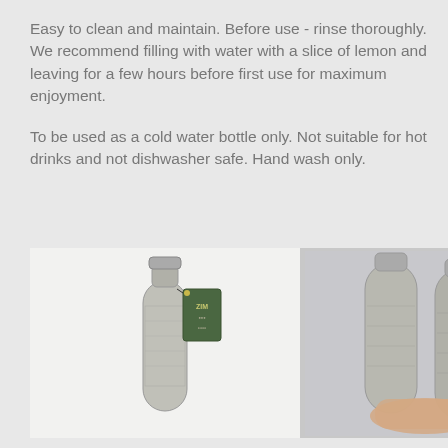Easy to clean and maintain.  Before use - rinse thoroughly. We recommend filling with water with a slice of lemon and leaving for a few hours before first use for maximum enjoyment.
To be used as a cold water bottle only. Not suitable for hot drinks and not dishwasher safe. Hand wash only.
[Figure (photo): Two photos of stainless steel water bottles with decorative printed designs. Left image shows a single bottle with a green branded tag attached. Right image shows a hand holding two bottles together.]